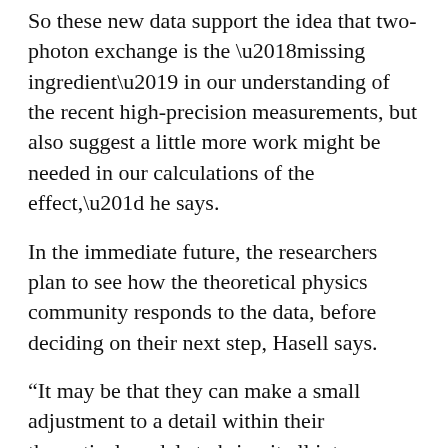So these new data support the idea that two-photon exchange is the ‘missing ingredient’ in our understanding of the recent high-precision measurements, but also suggest a little more work might be needed in our calculations of the effect,” he says.
In the immediate future, the researchers plan to see how the theoretical physics community responds to the data, before deciding on their next step, Hasell says.
“It may be that they can make a small adjustment to a detail within their theoretical models to bring it all into agreement, and explain the data at both higher and lower energies,” he says.
“Then it will be up to the experimentalists to check if that holds to be the case.”